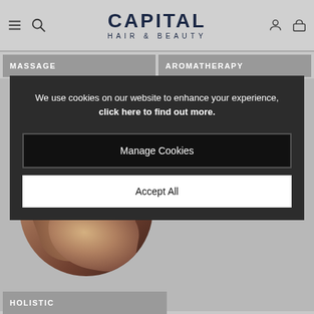CAPITAL HAIR & BEAUTY
MASSAGE
AROMATHERAPY
[Figure (screenshot): Cookie consent overlay on Capital Hair & Beauty website showing massage and holistic categories in background]
We use cookies on our website to enhance your experience, click here to find out more.
Manage Cookies
Accept All
HOLISTIC